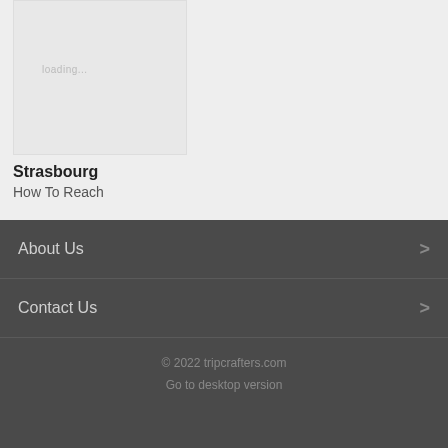[Figure (screenshot): Gray loading placeholder card image with 'loading...' text]
Strasbourg
How To Reach
About Us
Contact Us
© 2022 tripcrafters.com
Go to desktop version